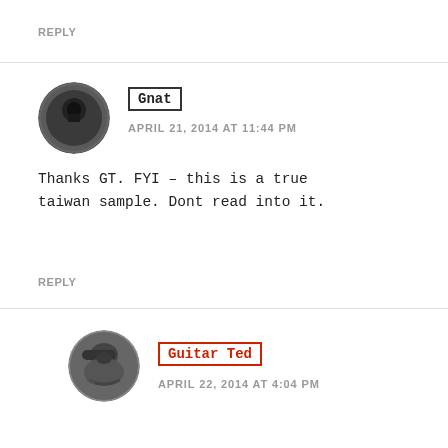REPLY
[Figure (photo): Black and white circular avatar photo of Gnat]
Gnat
APRIL 21, 2014 AT 11:44 PM
Thanks GT. FYI – this is a true taiwan sample. Dont read into it.
REPLY
[Figure (photo): Black and white circular avatar photo of Guitar Ted]
Guitar Ted
APRIL 22, 2014 AT 4:04 PM